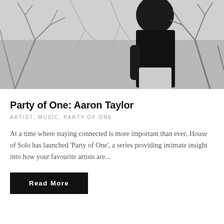[Figure (photo): Black and white photograph of a person (Aaron Taylor) standing outdoors with bare winter trees in the background. The person is wearing a dark top and light checkered shorts, facing slightly away from the camera.]
Party of One: Aaron Taylor
ARTIST, MUSIC, PARTY OF ONE
At a time where staying connected is more important than ever, House of Solo has launched 'Party of One', a series providing intimate insight into how your favourite artists are...
Read More